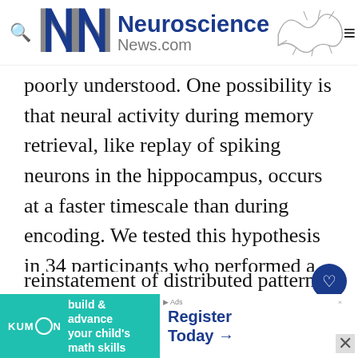Neuroscience News.com
poorly understood. One possibility is that neural activity during memory retrieval, like replay of spiking neurons in the hippocampus, occurs at a faster timescale than during encoding. We tested this hypothesis in 34 participants who performed a verbal episodic memory task while we recorded high gamma (62–100 Hz) activity from subdural electrodes implanted for seizure monitoring. We show t reinstatement of distributed patterns of high ga s
[Figure (other): Advertisement banner for Kumon with text 'build & advance your child's math skills' and 'Register Today →']